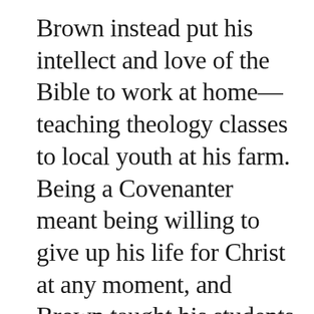Brown instead put his intellect and love of the Bible to work at home—teaching theology classes to local youth at his farm. Being a Covenanter meant being willing to give up his life for Christ at any moment, and Brown taught his students not to fear persecution but